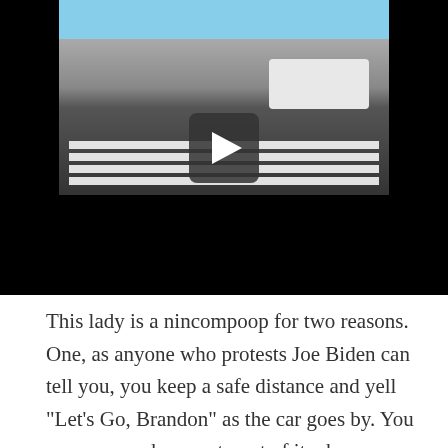[Figure (screenshot): Video thumbnail showing a street scene with a white car at a crosswalk, with a play button overlay. Background is black (video player UI).]
This lady is a nincompoop for two reasons. One, as anyone who protests Joe Biden can tell you, you keep a safe distance and yell "Let's Go, Brandon" as the car goes by. You can even make a party out of it where everyone is invited.